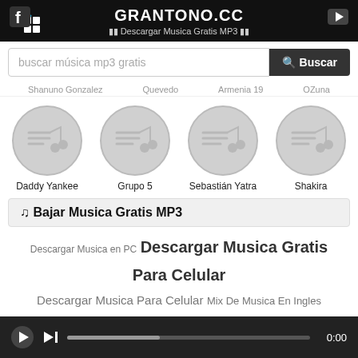GRANTONO.CC — Descargar Musica Gratis MP3
buscar música mp3 gratis — Buscar
Shanuno Gonzalez   Quevedo   Armenia 19   OZuna
[Figure (other): Four circular music artist thumbnails with music note icons: Daddy Yankee, Grupo 5, Sebastián Yatra, Shakira]
♫ Bajar Musica Gratis MP3
Descargar Musica en PC  Descargar Musica Gratis Para Celular  Descargar Musica Para Celular  Mix De Musica En Ingles  Cumpleaños Feliz Venezolano  Jamby El Favo  Laura Pausini  Sobrio Maluma  Paris Los Dos Carnales  Rauw Alejandro Sexo Virtual  NuevoMix Jon Z  Diomedes Diaz Vallenato  Musica Romantica
Descargar... Ca Salsa Romantica... Wa...
0:00